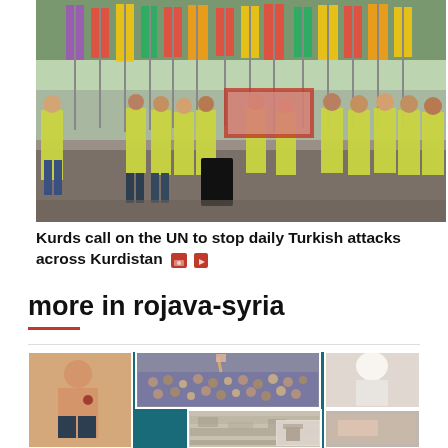[Figure (photo): People in yellow safety vests holding colorful flags (red, yellow, green, purple) at a protest/demonstration outdoors in what appears to be a city square]
Kurds call on the UN to stop daily Turkish attacks across Kurdistan 🖼 🎥
more in rojava-syria
[Figure (photo): Collage of multiple images: a shirtless child, a large crowd protest, a woman in white hijab, aerial landscape view, and detail shots, arranged on a teal/dark background]